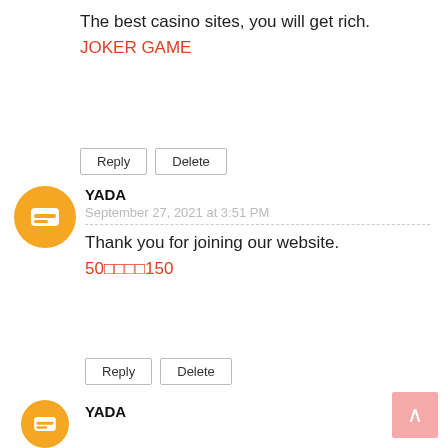The best casino sites, you will get rich.
JOKER GAME
Reply | Delete
YADA
September 27, 2021 at 3:51 PM
Thank you for joining our website.
50□□□□150
Reply | Delete
YADA
September 27, 2021 at 3:51 PM
Thank you.
□□□□□□□□□50
Reply | Delete
YADA